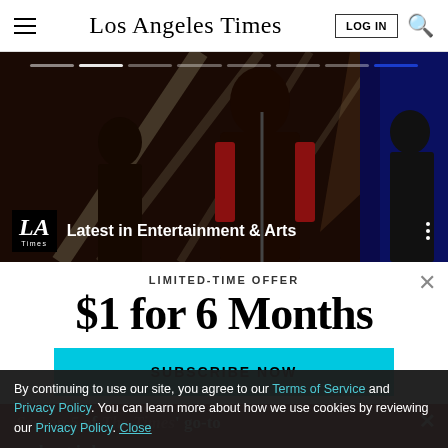Los Angeles Times
[Figure (photo): Concert stage photo with performer in red jacket under bright stage lights. LA Times logo overlay with text 'Latest in Entertainment & Arts'.]
LIMITED-TIME OFFER
$1 for 6 Months
SUBSCRIBE NOW
Season 5 of The Times' go-to podcast is here
By continuing to use our site, you agree to our Terms of Service and Privacy Policy. You can learn more about how we use cookies by reviewing our Privacy Policy. Close